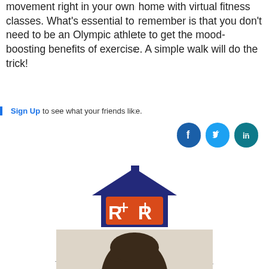movement right in your own home with virtual fitness classes. What's essential to remember is that you don't need to be an Olympic athlete to get the mood-boosting benefits of exercise. A simple walk will do the trick!
Sign Up to see what your friends like.
[Figure (infographic): Social media share icons: Facebook, Twitter, LinkedIn]
[Figure (logo): Realty Resources of the Carolinas LLC logo with house icon and RR monogram in orange and navy blue]
REALTY RESOURCES OF THE CAROLINAS, LLC
The "R...ABLE" Company. RespectABLE. ReliABLE. ReferABLE.
[Figure (photo): Partial photo of a person's head with dark hair, cropped at bottom of page]